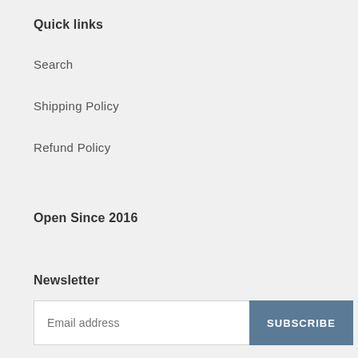Quick links
Search
Shipping Policy
Refund Policy
Open Since 2016
Newsletter
Email address  SUBSCRIBE